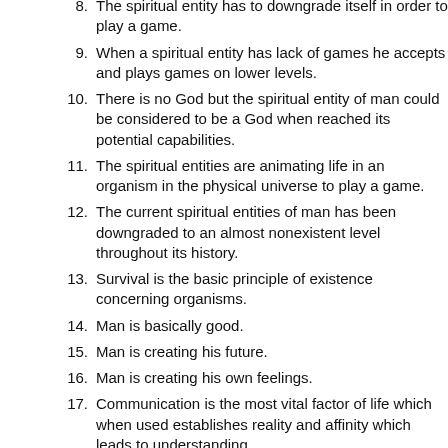8. The spiritual entity has to downgrade itself in order to play a game.
9. When a spiritual entity has lack of games he accepts and plays games on lower levels.
10. There is no God but the spiritual entity of man could be considered to be a God when reached its potential capabilities.
11. The spiritual entities are animating life in an organism in the physical universe to play a game.
12. The current spiritual entities of man has been downgraded to an almost nonexistent level throughout its history.
13. Survival is the basic principle of existence concerning organisms.
14. Man is basically good.
15. Man is creating his future.
16. Man is creating his own feelings.
17. Communication is the most vital factor of life which when used establishes reality and affinity which leads to understanding.
18. Acceptance of responsibility increases cause level